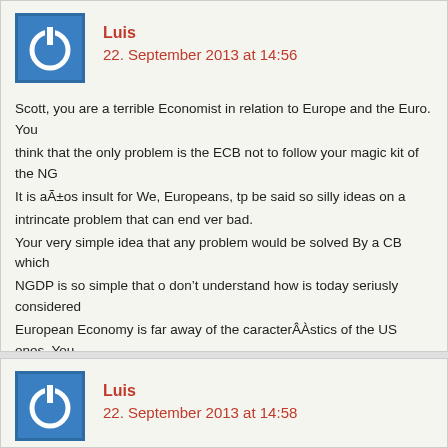[Figure (other): Blue square avatar with white power button icon]
Luis
22. September 2013 at 14:56
Scott, you are a terrible Economist in relation to Europe and the Euro. You think that the only problem is the ECB not to follow your magic kit of the NG It is aÃ±os insult for We, Europeans, tp be said so silly ideas on a intrincate problem that can end ver bad. Your very simple idea that any problem would be solved By a CB which NGDP is so simple that o don't understand how is today seriusly considered European Economy is far away of the caracterĀstics of the US ones. You kit is not usefull here. We have a fundamental problem. The euro is not an OCA. So, if is not a monetary rules are not valid for every countries. There are many other problem than that of which are solved By you poor m Bonne JournÃ©e
[Figure (other): Blue square avatar with white power button icon]
Luis
22. September 2013 at 14:58
Scott, you are a terrible Economist in relation to Europe and the Euro. You think that the only problem is the ECB not to follow your magic kit of the NG It is an insult for We, Europeans, tp be said so silly ideas on a Big and i problem that can end ver bad.